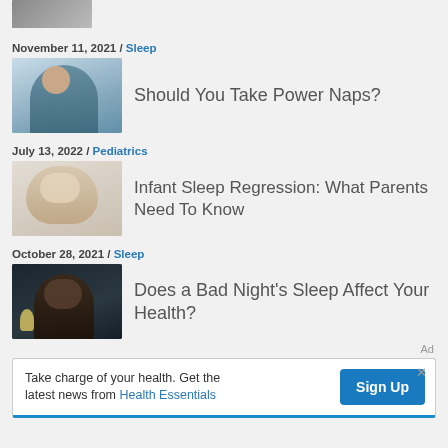[Figure (photo): Partial thumbnail image at top of page, person resting]
November 11, 2021 / Sleep
[Figure (photo): Person reclining relaxed on a couch, power nap article thumbnail]
Should You Take Power Naps?
July 13, 2022 / Pediatrics
[Figure (photo): Baby yawning, infant sleep regression article thumbnail]
Infant Sleep Regression: What Parents Need To Know
October 28, 2021 / Sleep
[Figure (photo): Person awake in dark bedroom, bad night sleep article thumbnail]
Does a Bad Night's Sleep Affect Your Health?
Ad
Take charge of your health. Get the latest news from Health Essentials
Sign Up